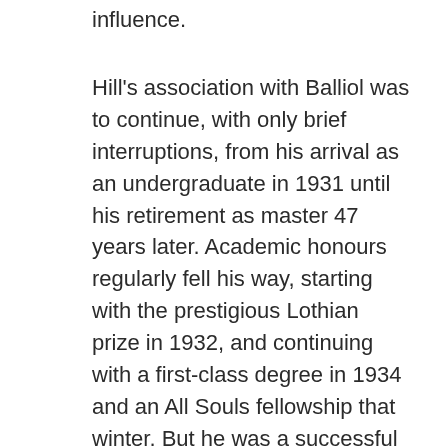influence.
Hill's association with Balliol was to continue, with only brief interruptions, from his arrival as an undergraduate in 1931 until his retirement as master 47 years later. Academic honours regularly fell his way, starting with the prestigious Lothian prize in 1932, and continuing with a first-class degree in 1934 and an All Souls fellowship that winter. But he was a successful rugby player too, the scorer of a famous cup-winning try for Balliol. Even more lastingly, he had become a Marxist. Exactly when and why this happened is uncertain, since Hill was always notoriously inscrutable about discussing his personal life. He once claimed it came about through